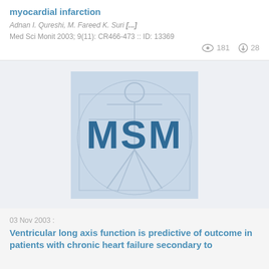myocardial infarction
Adnan I. Qureshi, M. Fareed K. Suri [...]
Med Sci Monit 2003; 9(11): CR466-473 :: ID: 13369
181  28
[Figure (logo): MSM journal logo with Vitruvian Man background and bold 'MSM' text in dark blue]
03 Nov 2003 :
Ventricular long axis function is predictive of outcome in patients with chronic heart failure secondary to